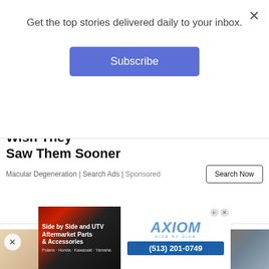Get the top stories delivered daily to your inbox.
Subscribe
Wet Macular Degeneration Signs - Many Wish They Saw Them Sooner
Macular Degeneration | Search Ads | Sponsored
Search Now
[Figure (photo): Photo of a blonde woman from behind/top view, blurred background]
[Figure (advertisement): Axiom Side by Side UTV advertisement showing ATV parts image on left, Axiom logo and phone number (513) 201-0749 on right, with brands Polaris, Honda, Kawasaki, Yamaha listed]